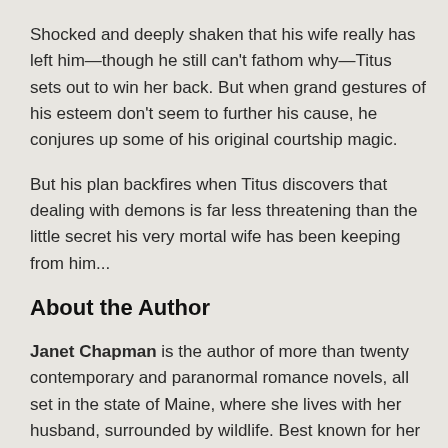Shocked and deeply shaken that his wife really has left him—though he still can't fathom why—Titus sets out to win her back. But when grand gestures of his esteem don't seem to further his cause, he conjures up some of his original courtship magic.
But his plan backfires when Titus discovers that dealing with demons is far less threatening than the little secret his very mortal wife has been keeping from him...
About the Author
Janet Chapman is the author of more than twenty contemporary and paranormal romance novels, all set in the state of Maine, where she lives with her husband, surrounded by wildlife. Best known for her Highlander